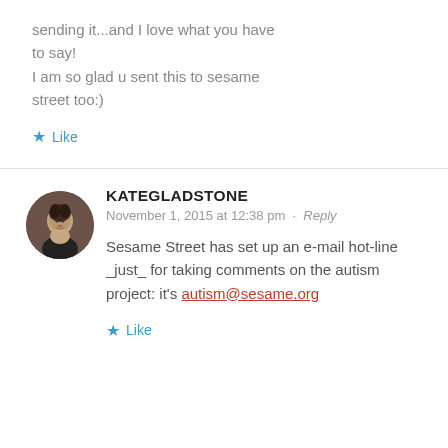sending it...and I love what you have to say!
I am so glad u sent this to sesame street too:)
★ Like
KATEGLADSTONE
November 1, 2015 at 12:38 pm · Reply
Sesame Street has set up an e-mail hot-line _just_ for taking comments on the autism project: it's autism@sesame.org
★ Like